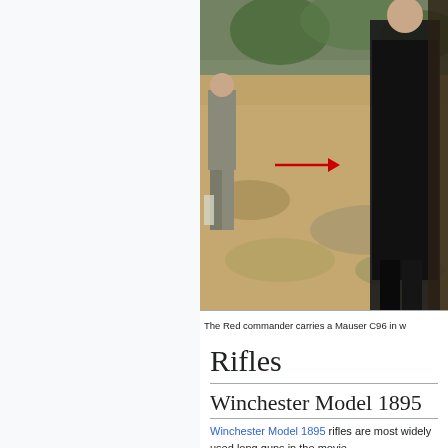[Figure (photo): A historical scene showing a Red commander and other figures outdoors on sandy/rocky terrain. A red arrow points to a weapon carried by the central figure. The person on the right wears a long dark coat.]
The Red commander carries a Mauser C96 in w
Rifles
Winchester Model 1895
Winchester Model 1895 rifles are most widely used long guns in the movie.